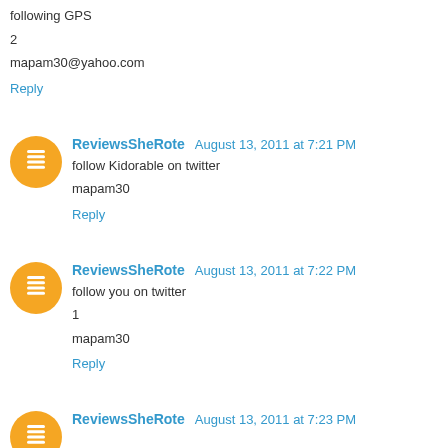following GPS
2
mapam30@yahoo.com
Reply
ReviewsSheRote August 13, 2011 at 7:21 PM
follow Kidorable on twitter
mapam30
Reply
ReviewsSheRote August 13, 2011 at 7:22 PM
follow you on twitter
1
mapam30
Reply
ReviewsSheRote August 13, 2011 at 7:23 PM